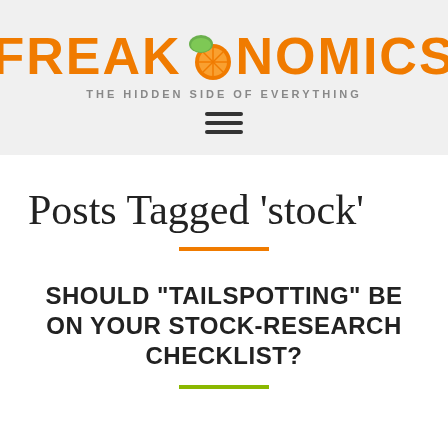FREAKONOMICS — THE HIDDEN SIDE OF EVERYTHING
Posts Tagged 'stock'
SHOULD "TAILSPOTTING" BE ON YOUR STOCK-RESEARCH CHECKLIST?